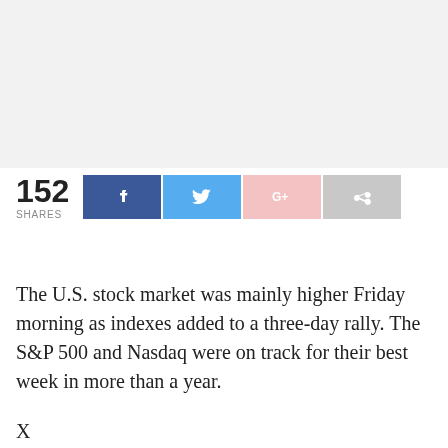[Figure (other): Advertisement placeholder — light gray rectangle]
152 SHARES [Facebook] [Twitter] [Google+] [Share]
The U.S. stock market was mainly higher Friday morning as indexes added to a three-day rally. The S&P 500 and Nasdaq were on track for their best week in more than a year.
X